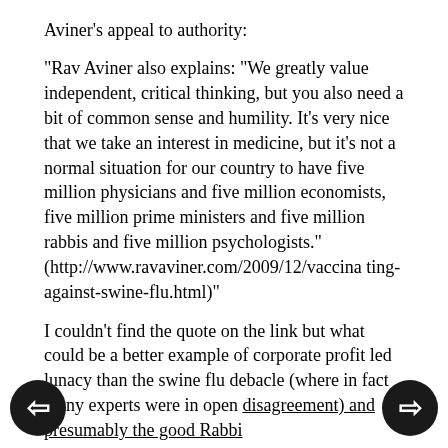Aviner's appeal to authority:
"Rav Aviner also explains: "We greatly value independent, critical thinking, but you also need a bit of common sense and humility. It's very nice that we take an interest in medicine, but it's not a normal situation for our country to have five million physicians and five million economists, five million prime ministers and five million rabbis and five million psychologists." (http://www.ravaviner.com/2009/12/vaccinating-against-swine-flu.html)"
I couldn't find the quote on the link but what could be a better example of corporate profit led lunacy than the swine flu debacle (where in fact many experts were in open disagreement) and presumably the good Rabbi